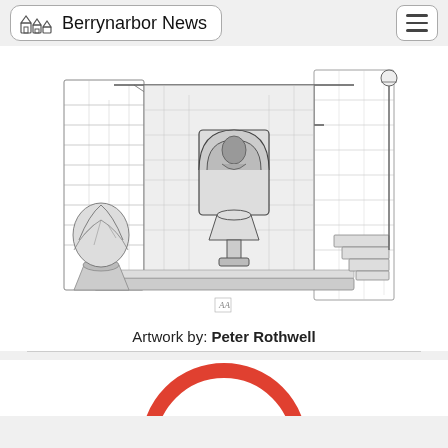Berrynarbor News
[Figure (illustration): Pen-and-ink sketch of a stone building exterior featuring a shrine or niche with an arched carving set into a stone wall, a wooden canopy/porch structure, a large potted plant on the left, steps on the right, and a street lamp. Artist monogram in lower center.]
Artwork by: Peter Rothwell
[Figure (logo): Partially visible circular red and white logo/badge at the bottom of the page, showing letters that appear to read 'OHO' or similar text in bold black.]